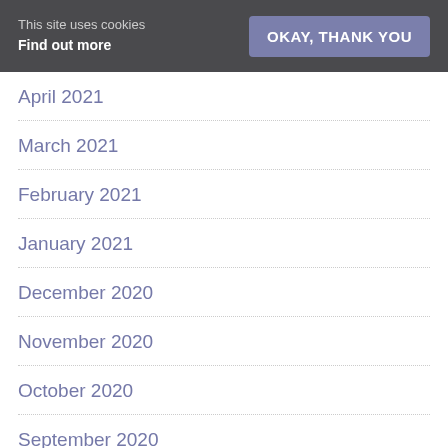This site uses cookies
Find out more | OKAY, THANK YOU
April 2021
March 2021
February 2021
January 2021
December 2020
November 2020
October 2020
September 2020